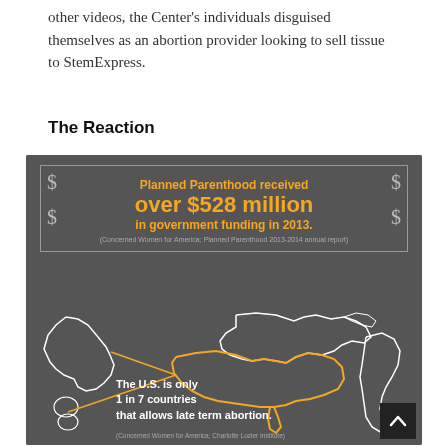other videos, the Center's individuals disguised themselves as an abortion provider looking to sell tissue to StemExpress.
The Reaction
[Figure (infographic): Dark grey infographic with two parts: top portion shows text 'Planned Parenthood received over $528 million in government funding in 2013.' with dollar signs in corners inside a bordered box. Bottom portion shows an outline map of several countries highlighted including the USA (outlined in gold/orange) alongside China, Canada, Netherlands and others with text 'The U.S. is only 1 in 7 countries that allows late term abortion.']